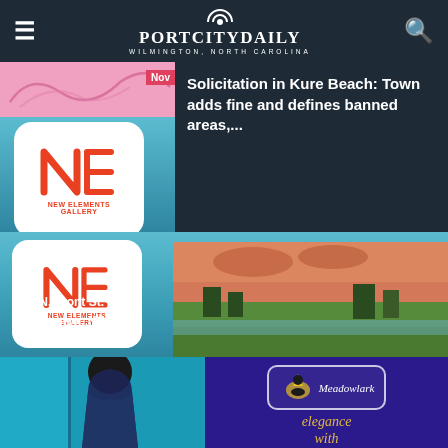PortCityDaily - Wilmington, North Carolina
Solicitation in Kure Beach: Town adds fine and defines banned areas,...
[Figure (illustration): New Elements Gallery advertisement with logo, address 271 N. Front St. Wilmington, NC 910-343-8997, and landscape painting in background]
[Figure (photo): Fashion photo of woman in blue paisley dress next to Meadowlark elegance advertisement on purple background]